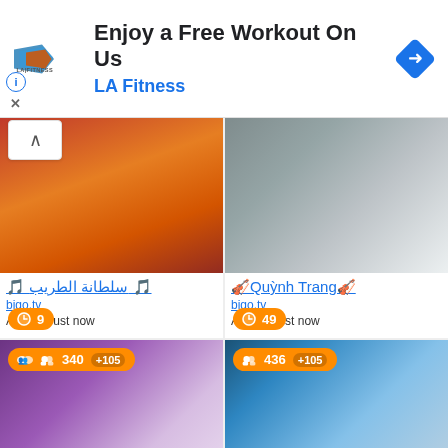[Figure (screenshot): LA Fitness advertisement banner: 'Enjoy a Free Workout On Us' with LA Fitness logo and blue navigation arrow icon]
[Figure (photo): Woman in red/orange outfit, close-up selfie with red lips. Timer badge showing 9. Name: سلطانة الطريب, site: bigo.tv, Added: Just now]
[Figure (photo): Woman in white dress at restaurant table. Timer badge showing 49. Name: 🎻Quỳnh Trang🎻, site: bigo.tv, Added: Just now]
[Figure (photo): Woman with blonde hair in purple-lit room. Viewer count badge: 340 +105. Timer badge showing 46.]
[Figure (photo): Woman holding dark rose. Viewer count badge: 436 +105. Timer badge showing 16.]